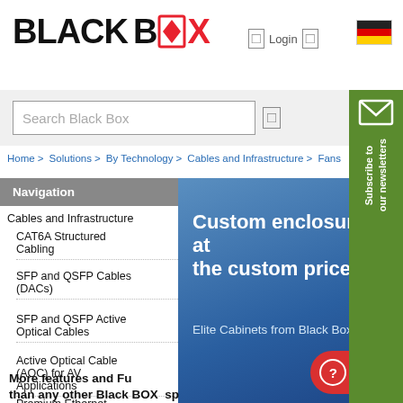BLACK BOX
Login
[Figure (illustration): German flag icon]
Search Black Box
[Figure (illustration): Subscribe to our newsletters sidebar with envelope icon]
Home > Solutions > By Technology > Cables and Infrastructure > Fans
Navigation
Cables and Infrastructure
CAT6A Structured Cabling
SFP and QSFP Cables (DACs)
SFP and QSFP Active Optical Cables
Active Optical Cable (AOC) for AV Applications
Premium Ethernet Cables
Pre-Terminated Fibre
[Figure (illustration): Blue gradient banner with text: Custom enclosures at the custom price. Elite Cabinets from Black Box.]
More features and Fu than any other Black BOX sp